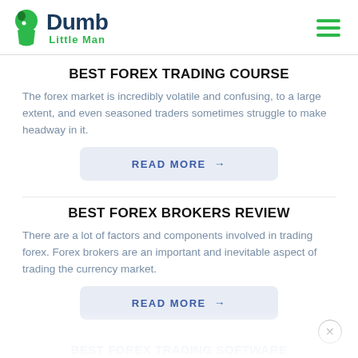Dumb Little Man
BEST FOREX TRADING COURSE
The forex market is incredibly volatile and confusing, to a large extent, and even seasoned traders sometimes struggle to make headway in it.
READ MORE →
BEST FOREX BROKERS REVIEW
There are a lot of factors and components involved in trading forex. Forex brokers are an important and inevitable aspect of trading the currency market.
READ MORE →
BEST FOREX TRADING SOFTWARE